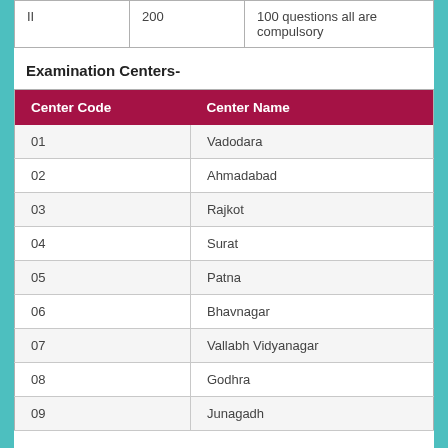|  |  |  |
| --- | --- | --- |
| II | 200 | 100 questions all are compulsory |
Examination Centers-
| Center Code | Center Name |
| --- | --- |
| 01 | Vadodara |
| 02 | Ahmadabad |
| 03 | Rajkot |
| 04 | Surat |
| 05 | Patna |
| 06 | Bhavnagar |
| 07 | Vallabh Vidyanagar |
| 08 | Godhra |
| 09 | Junagadh |